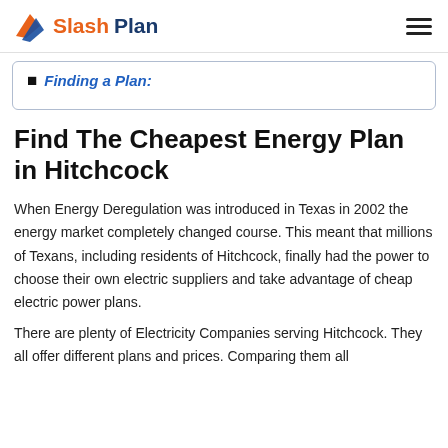SlashPlan
Finding a Plan:
Find The Cheapest Energy Plan in Hitchcock
When Energy Deregulation was introduced in Texas in 2002 the energy market completely changed course. This meant that millions of Texans, including residents of Hitchcock, finally had the power to choose their own electric suppliers and take advantage of cheap electric power plans.
There are plenty of Electricity Companies serving Hitchcock. They all offer different plans and prices. Comparing them all...